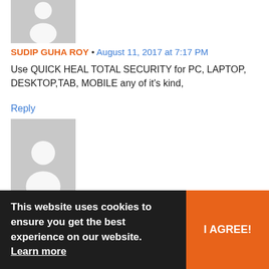[Figure (illustration): Gray avatar placeholder with white silhouette person icon, cropped at top]
SUDIP GUHA ROY • August 11, 2017 at 7:17 PM
Use QUICK HEAL TOTAL SECURITY for PC, LAPTOP, DESKTOP,TAB, MOBILE any of it's kind,
Reply
[Figure (illustration): Gray avatar placeholder with white silhouette person icon]
p.moitra • August 12, 2017 at 6:56 AM
Fruitful result obtained
Thanks
Reply
[Figure (illustration): Gray avatar placeholder with white silhouette person icon, partially visible at bottom]
August 12, 2017 at 11:23 AM
Good Service & High version alert
Reply
This website uses cookies to ensure you get the best experience on our website. Learn more
I AGREE!